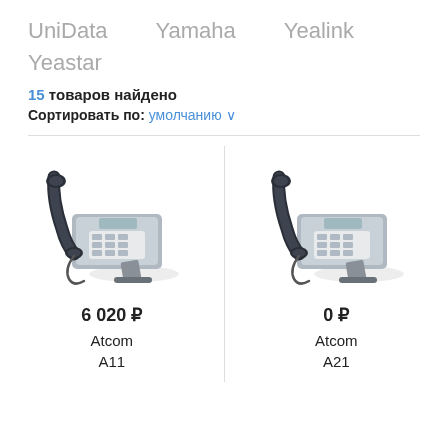UniData   Yamaha   Yealink
Yeastar
15 товаров найдено
Сортировать по: умолчанию
[Figure (photo): IP desk phone Atcom A11, dark grey/silver color]
6 020 ₽
Atcom
A11
[Figure (photo): IP desk phone Atcom A21, dark grey/silver color]
0 ₽
Atcom
A21